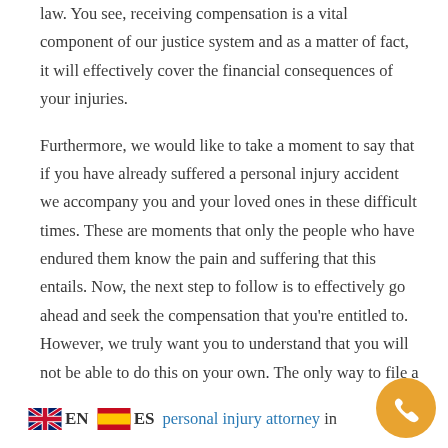law. You see, receiving compensation is a vital component of our justice system and as a matter of fact, it will effectively cover the financial consequences of your injuries.
Furthermore, we would like to take a moment to say that if you have already suffered a personal injury accident we accompany you and your loved ones in these difficult times. These are moments that only the people who have endured them know the pain and suffering that this entails. Now, the next step to follow is to effectively go ahead and seek the compensation that you're entitled to. However, we truly want you to understand that you will not be able to do this on your own. The only way to file a successful claim is by hiring the personal injury attorney in Florida.
EN ES personal injury attorney in Florida